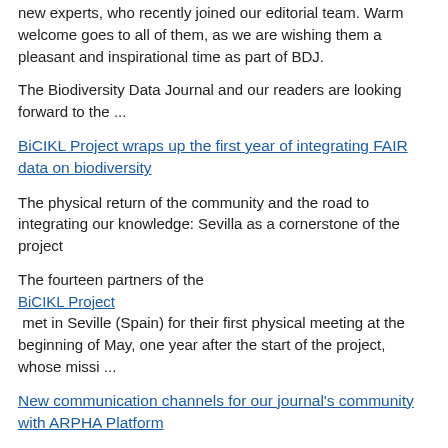new experts, who recently joined our editorial team. Warm welcome goes to all of them, as we are wishing them a pleasant and inspirational time as part of BDJ.
The Biodiversity Data Journal and our readers are looking forward to the ...
BiCIKL Project wraps up the first year of integrating FAIR data on biodiversity
The physical return of the community and the road to integrating our knowledge: Sevilla as a cornerstone of the project
The fourteen partners of the BiCIKL Project met in Seville (Spain) for their first physical meeting at the beginning of May, one year after the start of the project, whose missi ...
New communication channels for our journal's community with ARPHA Platform
Recently, owing to the publishing platform of ARPHA, our journal introduced new features meant to voice and strengthen our community. We received a dedicated News section and a Post your news form, both accessible from the homepage of our website. Together, they let our readers, authors, editors and